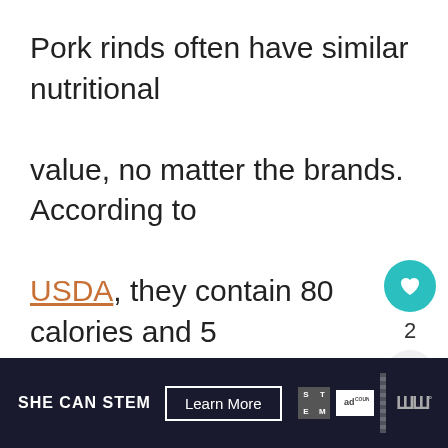Pork rinds often have similar nutritional value, no matter the brands. According to USDA, they contain 80 calories and 5 grams of fat in 14 grams of serving
[Figure (infographic): Social media sidebar with heart/like button showing count of 2 and a share button]
[Figure (infographic): What's Next widget showing thumbnail image and text 'What Do Scorpions...']
[Figure (infographic): Advertisement banner: SHE CAN STEM with Learn More button, STEM logo, Ad Council logo, and WR logo]